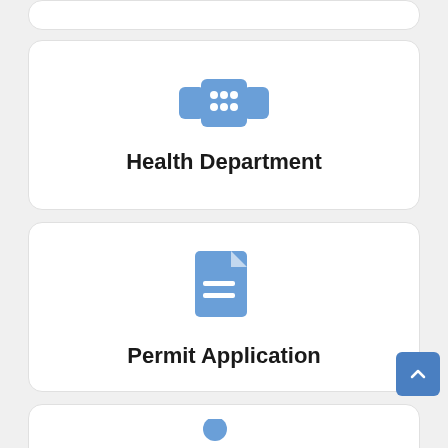[Figure (illustration): Partial card visible at top of page (cropped)]
[Figure (illustration): Health Department card with bandage/first-aid icon and bold label 'Health Department']
[Figure (illustration): Permit Application card with document/file icon and bold label 'Permit Application']
[Figure (illustration): Partial card at bottom with person-writing icon (cropped)]